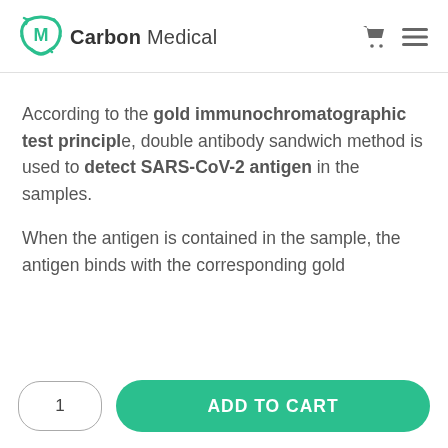Carbon Medical
According to the gold immunochromatographic test principle, double antibody sandwich method is used to detect SARS-CoV-2 antigen in the samples.
When the antigen is contained in the sample, the antigen binds with the corresponding gold
1
ADD TO CART